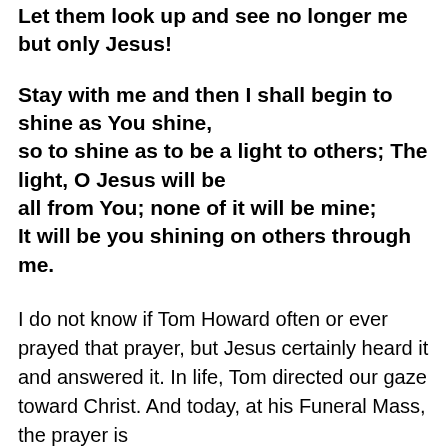Let them look up and see no longer me but only Jesus!
Stay with me and then I shall begin to shine as You shine, so to shine as to be a light to others; The light, O Jesus will be all from You; none of it will be mine; It will be you shining on others through me.
I do not know if Tom Howard often or ever prayed that prayer, but Jesus certainly heard it and answered it. In life, Tom directed our gaze toward Christ. And today, at his Funeral Mass, the prayer is